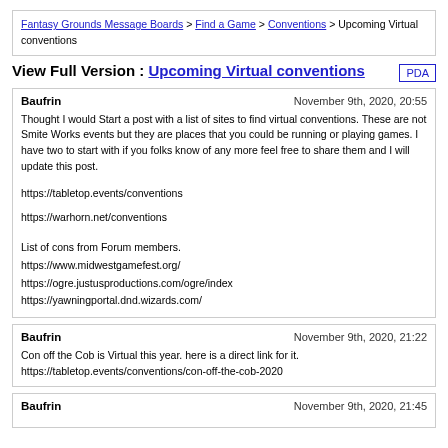Fantasy Grounds Message Boards > Find a Game > Conventions > Upcoming Virtual conventions
View Full Version : Upcoming Virtual conventions
Baufrin  November 9th, 2020, 20:55
Thought I would Start a post with a list of sites to find virtual conventions. These are not Smite Works events but they are places that you could be running or playing games. I have two to start with if you folks know of any more feel free to share them and I will update this post.
https://tabletop.events/conventions
https://warhorn.net/conventions
List of cons from Forum members.
https://www.midwestgamefest.org/
https://ogre.justusproductions.com/ogre/index
https://yawningportal.dnd.wizards.com/
Baufrin  November 9th, 2020, 21:22
Con off the Cob is Virtual this year. here is a direct link for it.
https://tabletop.events/conventions/con-off-the-cob-2020
Baufrin  November 9th, 2020, 21:45